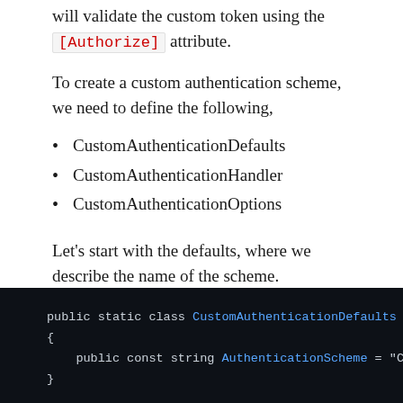will validate the custom token using the [Authorize] attribute.
To create a custom authentication scheme, we need to define the following,
CustomAuthenticationDefaults
CustomAuthenticationHandler
CustomAuthenticationOptions
Let's start with the defaults, where we describe the name of the scheme.
[Figure (screenshot): Code block showing: public static class CustomAuthenticationDefaults { public const string AuthenticationScheme = "C... }]